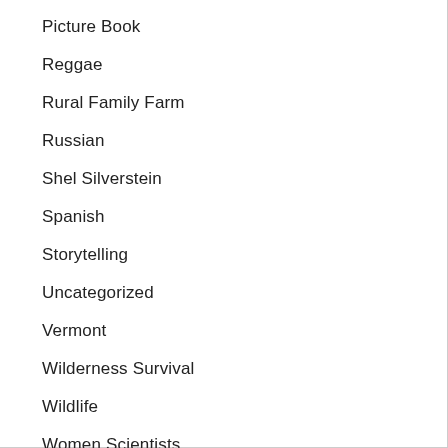Picture Book
Reggae
Rural Family Farm
Russian
Shel Silverstein
Spanish
Storytelling
Uncategorized
Vermont
Wilderness Survival
Wildlife
Women Scientists
Young Adult